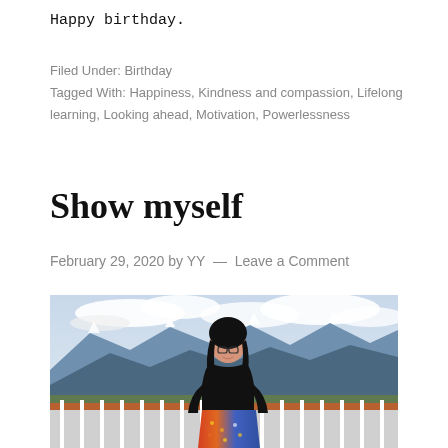Happy birthday.
Filed Under: Birthday
Tagged With: Happiness, Kindness and compassion, Lifelong learning, Looking ahead, Motivation, Powerlessness
Show myself
February 29, 2020 by YY — Leave a Comment
[Figure (photo): A young woman with glasses and long dark hair wearing a black top and colorful patterned skirt, standing on a balcony or viewing platform with a railing, with blue mountains and cloudy sky in the background.]